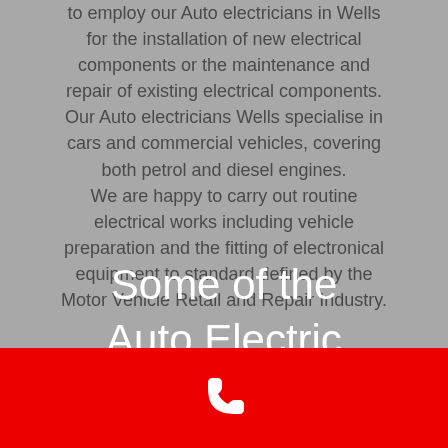to employ our Auto electricians in Wells for the installation of new electrical components or the maintenance and repair of existing electrical components. Our Auto electricians Wells specialise in cars and commercial vehicles, covering both petrol and diesel engines. We are happy to carry out routine electrical works including vehicle preparation and the fitting of electronical equipment to standard defined by the Motor Vehicle Retail and Repair Industry.
Some of the Auto Electric
[Figure (other): Red bar at the bottom of the page with a white phone icon in the center]